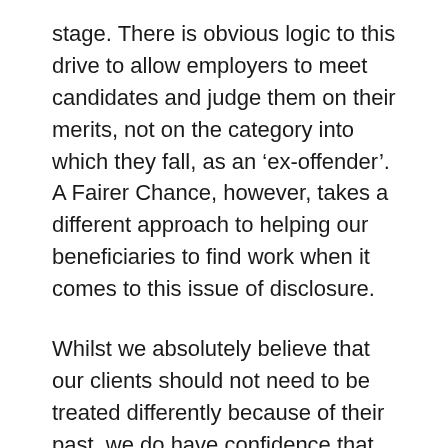stage. There is obvious logic to this drive to allow employers to meet candidates and judge them on their merits, not on the category into which they fall, as an 'ex-offender'. A Fairer Chance, however, takes a different approach to helping our beneficiaries to find work when it comes to this issue of disclosure.
Whilst we absolutely believe that our clients should not need to be treated differently because of their past, we do have confidence that sending our clients to meet sympathetic employers is a more sustainable approach. Whilst it is possible for candidates to apply for a position without the employer being aware of their convictions, what can happen in